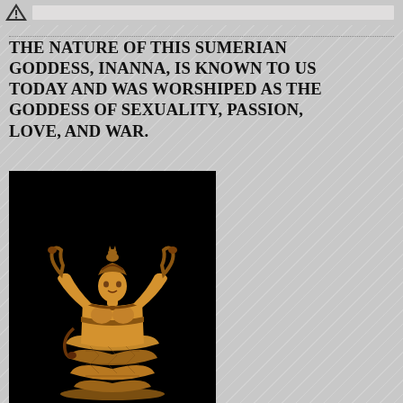THE NATURE OF THIS SUMERIAN GODDESS, INANNA, IS KNOWN TO US TODAY AND WAS WORSHIPED AS THE GODDESS OF SEXUALITY, PASSION, LOVE, AND WAR.
[Figure (photo): Golden statuette of the Minoan Snake Goddess (often associated with Inanna), depicted holding snakes in both hands, wearing a tiered skirt and horned crown with a cat on top, against a black background.]